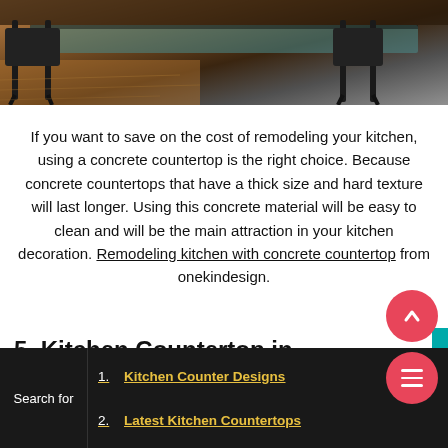[Figure (photo): Photo of a kitchen countertop area with dark wooden bar stools/chairs and a concrete or wooden countertop surface, cropped at the top of the page.]
If you want to save on the cost of remodeling your kitchen, using a concrete countertop is the right choice. Because concrete countertops that have a thick size and hard texture will last longer. Using this concrete material will be easy to clean and will be the main attraction in your kitchen decoration. Remodeling kitchen with concrete countertop from onekindesign.
5. Kitchen Countertop in Mosaic Tiles
Search for
1. Kitchen Counter Designs
2. Latest Kitchen Countertops